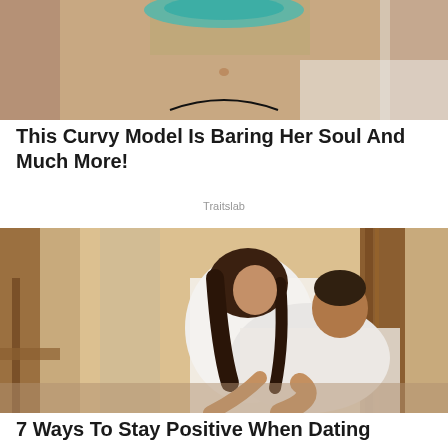[Figure (photo): Close-up photo of a woman in a teal/turquoise bikini top, showing midsection, lying on white background]
This Curvy Model Is Baring Her Soul And Much More!
Traitslab
[Figure (photo): Photo of a couple relaxing outdoors, woman in white dress sitting on man in white shirt lying on a daybed, warm golden light]
7 Ways To Stay Positive When Dating